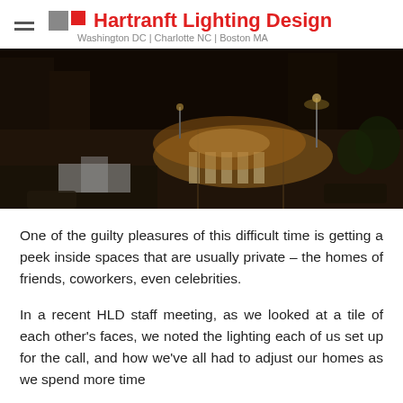Hartranft Lighting Design — Washington DC | Charlotte NC | Boston MA
[Figure (photo): Aerial night-time photograph of a city street intersection with street lights illuminating crosswalks and roads, dark rooftops visible in foreground]
One of the guilty pleasures of this difficult time is getting a peek inside spaces that are usually private – the homes of friends, coworkers, even celebrities.
In a recent HLD staff meeting, as we looked at a tile of each other's faces, we noted the lighting each of us set up for the call, and how we've all had to adjust our homes as we spend more time